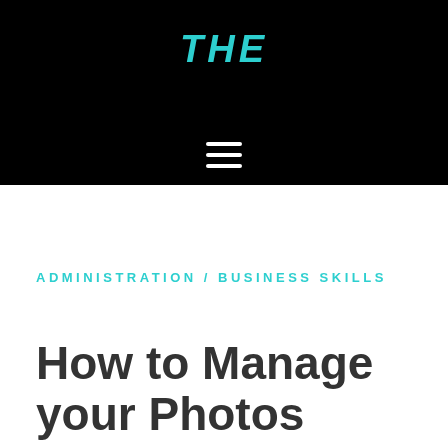[Figure (logo): Website header with black background, teal/cyan 'THE' logo text in stylized bold italic font, and a hamburger menu icon (three white horizontal lines) centered below the logo]
ADMINISTRATION / BUSINESS SKILLS
How to Manage your Photos